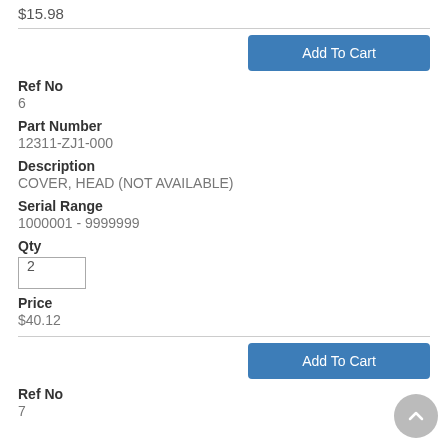$15.98
Add To Cart
Ref No
6
Part Number
12311-ZJ1-000
Description
COVER, HEAD (NOT AVAILABLE)
Serial Range
1000001 - 9999999
Qty
2
Price
$40.12
Add To Cart
Ref No
7